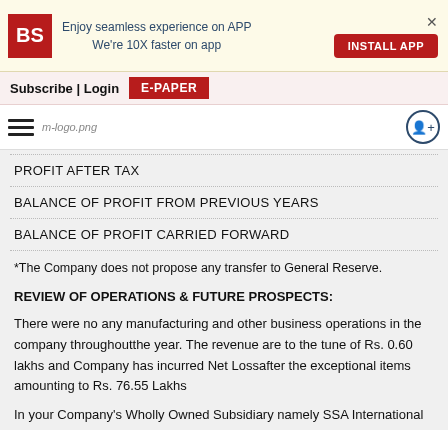[Figure (screenshot): Business Standard app banner with BS red logo, install app button]
Subscribe | Login   E-PAPER
[Figure (logo): m-logo.png mobile logo and hamburger menu with circle icon]
| PROFIT AFTER TAX |
| BALANCE OF PROFIT FROM PREVIOUS YEARS |
| BALANCE OF PROFIT CARRIED FORWARD |
*The Company does not propose any transfer to General Reserve.
REVIEW OF OPERATIONS & FUTURE PROSPECTS:
There were no any manufacturing and other business operations in the company throughoutthe year. The revenue are to the tune of Rs. 0.60 lakhs and Company has incurred Net Lossafter the exceptional items amounting to Rs. 76.55 Lakhs
In your Company's Wholly Owned Subsidiary namely SSA International